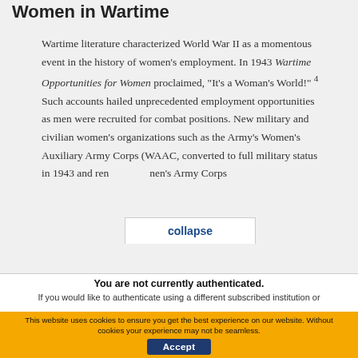Women in Wartime
Wartime literature characterized World War II as a momentous event in the history of women’s employment. In 1943 Wartime Opportunities for Women proclaimed, “It’s a Woman’s World!” ⁴ Such accounts hailed unprecedented employment opportunities as men were recruited for combat positions. New military and civilian women’s organizations such as the Army’s Women’s Auxiliary Army Corps (WAAC, converted to full military status in 1943 and renamed Women’s Army Corps
collapse
You are not currently authenticated.
If you would like to authenticate using a different subscribed institution or
This website uses cookies to ensure you get the best experience on our website. Without cookies your experience may not be seamless.
Accept